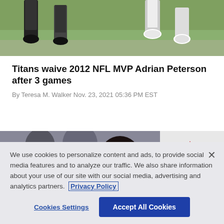[Figure (photo): Sports photo showing football players' legs and feet on a grass field, partial view cropped at top]
Titans waive 2012 NFL MVP Adrian Peterson after 3 games
By Teresa M. Walker Nov. 23, 2021 05:36 PM EST
[Figure (photo): Photo of a woman with long hair at what appears to be a sporting event, holding a flag, with crowd visible in background]
We use cookies to personalize content and ads, to provide social media features and to analyze our traffic. We also share information about your use of our site with our social media, advertising and analytics partners. Privacy Policy
Cookies Settings   Accept All Cookies